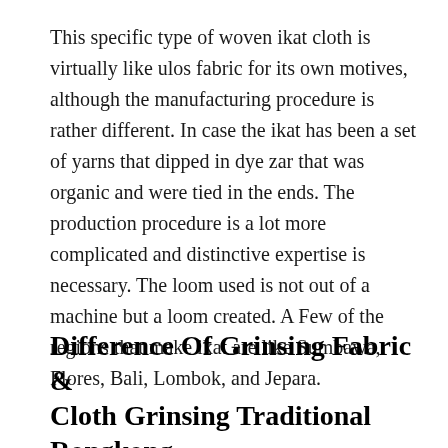This specific type of woven ikat cloth is virtually like ulos fabric for its own motives, although the manufacturing procedure is rather different. In case the ikat has been a set of yarns that dipped in dye zar that was organic and were tied in the ends. The production procedure is a lot more complicated and distinctive expertise is necessary. The loom used is not out of a machine but a loom created. A Few of the regions that make ikat are like Sumbawa, Flores, Bali, Lombok, and Jepara.
Difference Of Grinsing Fabric & Cloth Grinsing Traditional Rongkong